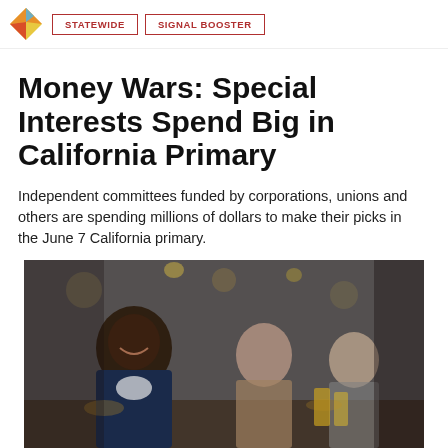STATEWIDE | SIGNAL BOOSTER
Money Wars: Special Interests Spend Big in California Primary
Independent committees funded by corporations, unions and others are spending millions of dollars to make their picks in the June 7 California primary.
[Figure (photo): People at a bar looking at their phones and drinks, one man laughing]